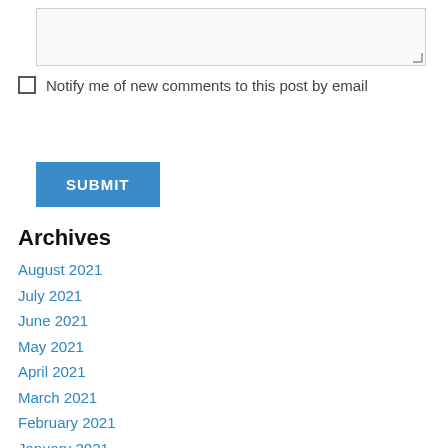[textarea input field]
Notify me of new comments to this post by email
SUBMIT
Archives
August 2021
July 2021
June 2021
May 2021
April 2021
March 2021
February 2021
January 2021
December 2020
November 2020